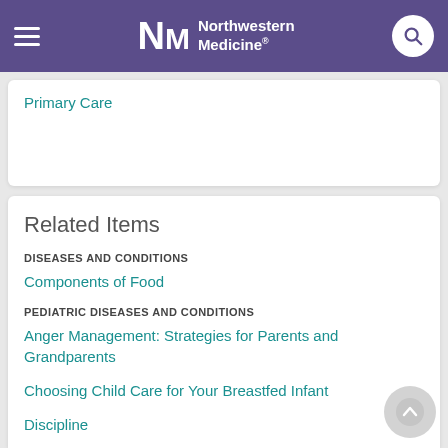Northwestern Medicine
Primary Care
Related Items
DISEASES AND CONDITIONS
Components of Food
PEDIATRIC DISEASES AND CONDITIONS
Anger Management: Strategies for Parents and Grandparents
Choosing Child Care for Your Breastfed Infant
Discipline
View All 5